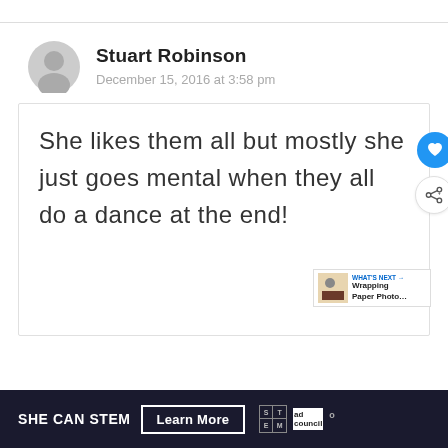Stuart Robinson
December 15, 2016 at 3:58 pm
She likes them all but mostly she just goes mental when they all do a dance at the end!
SHE CAN STEM  Learn More